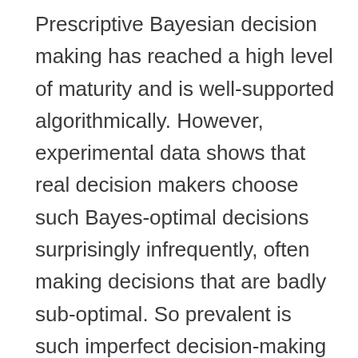Prescriptive Bayesian decision making has reached a high level of maturity and is well-supported algorithmically. However, experimental data shows that real decision makers choose such Bayes-optimal decisions surprisingly infrequently, often making decisions that are badly sub-optimal. So prevalent is such imperfect decision-making that it should be accepted as an inherent feature of real decision makers living within interacting societies. To date such societies have been investigated from an economic and gametheoretic perspective, and even to a degree from a physics perspective. However, little research has been done from the perspective of computer science and associated disciplines like machine learning,